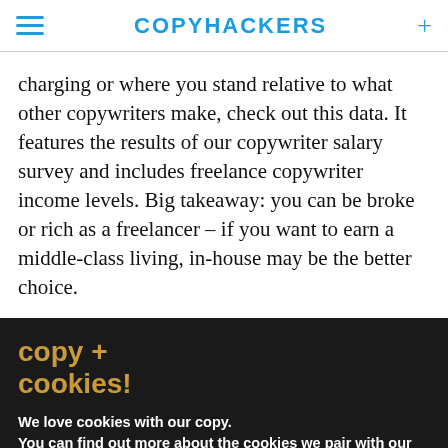COPYHACKERS
charging or where you stand relative to what other copywriters make, check out this data. It features the results of our copywriter salary survey and includes freelance copywriter income levels. Big takeaway: you can be broke or rich as a freelancer – if you want to earn a middle-class living, in-house may be the better choice.
copy + cookies!
We love cookies with our copy. You can find out more about the cookies we pair with our copy or switch them off in settings.
Accept   Reject